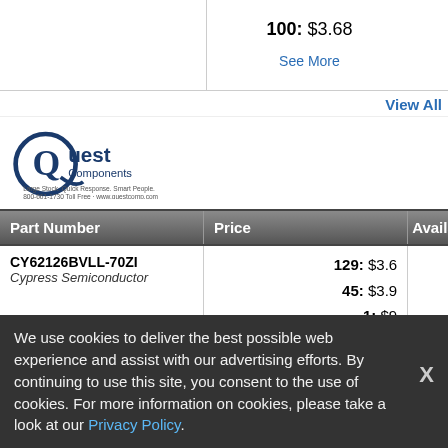|  | 100: $3.68
See More |  |
| --- | --- | --- |
View All
[Figure (logo): Quest Components logo — circular Q graphic with 'Quest Components' text and tagline]
| Part Number | Price | Availa |
| --- | --- | --- |
| CY62126BVLL-70ZI
Cypress Semiconductor | 129: $3.6
45: $3.9
1: $9 |  |
| CY62126BVLL-70ZI
Cypress Semiconductor | 43: $5.55
12: $6
1: $9 |  |
| CY62126BVLL-70ZI
Cypress Semiconductor | 5: $20
2: $21
1: $33.5 |  |
We use cookies to deliver the best possible web experience and assist with our advertising efforts. By continuing to use this site, you consent to the use of cookies. For more information on cookies, please take a look at our Privacy Policy.